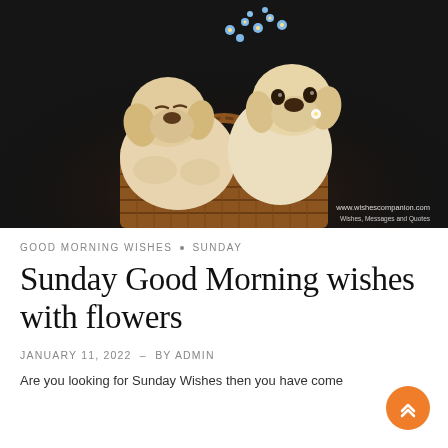[Figure (photo): Two golden Labrador puppies sitting together in a wicker basket with small blue flowers. Dark background. Watermark: www.wishescompanion.com Wishes, Messages and Quotes]
GOOD MORNING WISHES · SUNDAY
Sunday Good Morning wishes with flowers
JANUARY 11, 2022  –  BY ADMIN
Are you looking for Sunday Wishes then you have come